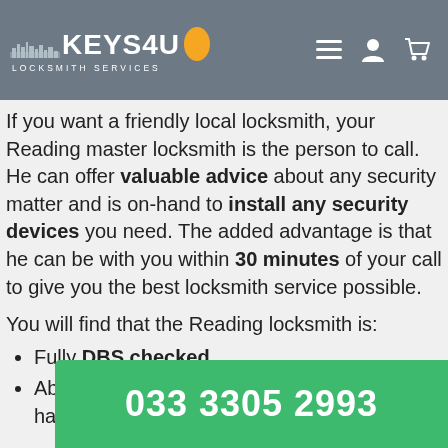KEYS4U LOCKSMITH SERVICES
If you want a friendly local locksmith, your Reading master locksmith is the person to call. He can offer valuable advice about any security matter and is on-hand to install any security devices you need. The added advantage is that he can be with you within 30 minutes of your call to give you the best locksmith service possible.
You will find that the Reading locksmith is:
Fully DBS checked
Able to deal with any type of lock you may have including the popular mortice, night latch or even high-security Mul-T-Locks.
033 3305 2993